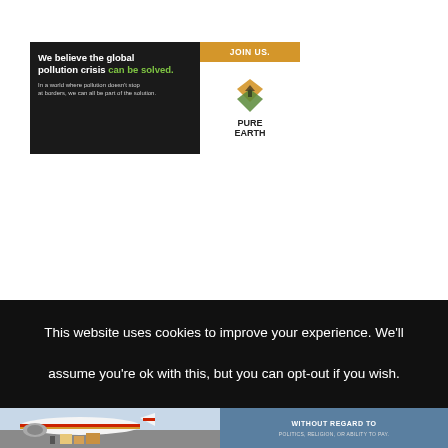[Figure (illustration): Advertisement banner for Pure Earth. Left side: dark background with white bold text 'We believe the global pollution crisis can be solved.' in green, and smaller text below 'In a world where pollution doesn't stop at borders, we can all be part of the solution.' Right side: orange 'JOIN US.' button at top, Pure Earth logo (diamond chevron shape) with 'PURE EARTH' text.]
This website uses cookies to improve your experience. We'll assume you're ok with this, but you can opt-out if you wish.
[Figure (photo): Bottom advertisement showing cargo being loaded onto an airplane (Southwest Airlines colors visible), with a dark blue panel on the right reading 'WITHOUT REGARD TO' and smaller text below.]